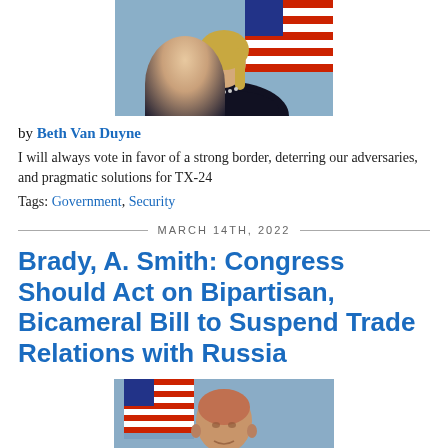[Figure (photo): Official portrait photo of Beth Van Duyne, a woman with long blonde hair wearing a dark top and pearl necklace, with an American flag in the background]
by Beth Van Duyne
I will always vote in favor of a strong border, deterring our adversaries, and pragmatic solutions for TX-24
Tags: Government, Security
MARCH 14TH, 2022
Brady, A. Smith: Congress Should Act on Bipartisan, Bicameral Bill to Suspend Trade Relations with Russia
[Figure (photo): Official portrait photo of a bald man in a dark suit with an American flag in the background]